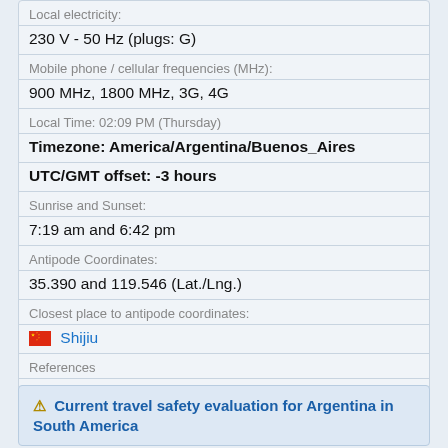Local electricity:
230 V - 50 Hz (plugs: G)
Mobile phone / cellular frequencies (MHz):
900 MHz, 1800 MHz, 3G, 4G
Local Time: 02:09 PM (Thursday)
Timezone: America/Argentina/Buenos_Aires
UTC/GMT offset: -3 hours
Sunrise and Sunset:
7:19 am and 6:42 pm
Antipode Coordinates:
35.390 and 119.546 (Lat./Lng.)
Closest place to antipode coordinates:
Shijiu
References
This place on Geonames.org
⚠ Current travel safety evaluation for Argentina in South America